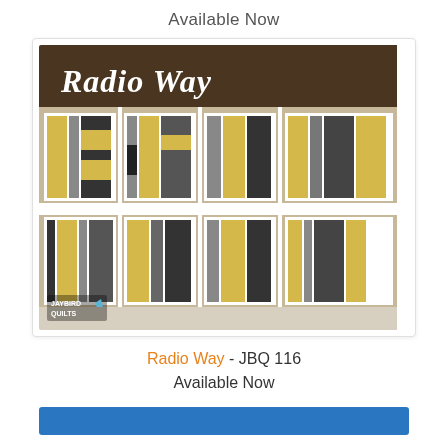Available Now
[Figure (photo): Radio Way quilt pattern cover image showing a colorful quilt with yellow, grey, black and white fabric strips arranged in a geometric pattern, draped outdoors. Title 'Radio Way' in white script on dark brown banner at top. Jaybird Quilts logo in bottom left corner.]
Radio Way - JBQ 116 Available Now
[Figure (other): Blue bar/banner at bottom of page]